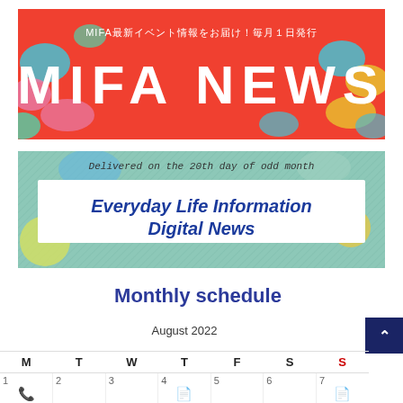[Figure (illustration): MIFA NEWS banner - red background with colorful abstract blob shapes, white Japanese subtitle text 'MIFA最新イベント情報をお届け！毎月1日発行' and large white bold text 'MIFA NEWS']
[Figure (illustration): Everyday Life Information Digital News banner - blue-green background with decorative shapes, italic subtitle 'Delivered on the 20th day of odd month', white box with blue bold italic title 'Everyday Life Information Digital News']
Monthly schedule
August 2022
| M | T | W | T | F | S | S |
| --- | --- | --- | --- | --- | --- | --- |
| 1 [Contact phone icon] | 2 | 3 | 4 [Access icon] | 5 | 6 | 7 [icon] |